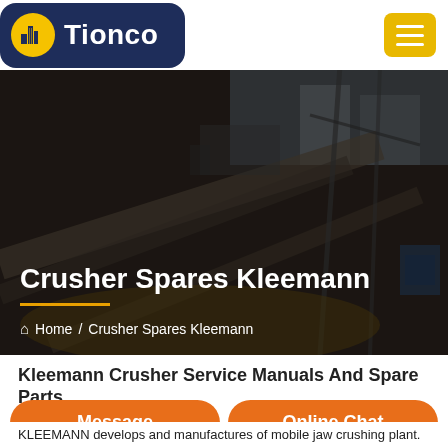[Figure (logo): Tionco logo with building icon on dark blue rounded rectangle background]
[Figure (photo): Industrial crusher/mining equipment facility with conveyor belts and scaffolding, dark overlay]
Crusher Spares Kleemann
Home / Crusher Spares Kleemann
Kleemann Crusher Service Manuals And Spare Parts
Message
Online Chat
KLEEMANN develops and manufactures of mobile jaw crushing plant.